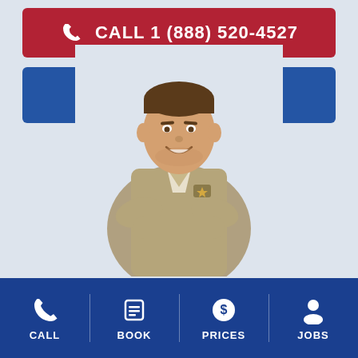CALL 1 (888) 520-4527
BOOK ONLINE
[Figure (photo): Smiling male technician/worker in khaki uniform with arms crossed]
CALL
BOOK
PRICES
JOBS